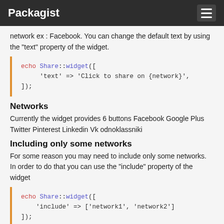Packagist
network ex : Facebook. You can change the default text by using the "text" property of the widget.
echo Share::widget([
    'text' => 'Click to share on {network}',
]);
Networks
Currently the widget provides 6 buttons Facebook Google Plus Twitter Pinterest Linkedin Vk odnoklassniki
Including only some networks
For some reason you may need to include only some networks. In order to do that you can use the "include" property of the widget
echo Share::widget([
    'include' => ['network1', 'network2']
]);